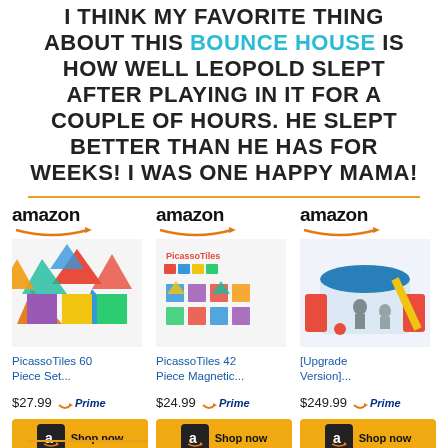I THINK MY FAVORITE THING ABOUT THIS BOUNCE HOUSE IS HOW WELL LEOPOLD SLEPT AFTER PLAYING IN IT FOR A COUPLE OF HOURS. HE SLEPT BETTER THAN HE HAS FOR WEEKS! I WAS ONE HAPPY MAMA!
[Figure (other): Three Amazon product listings: PicassoTiles 60 Piece Set ($27.99, Prime), PicassoTiles 42 Piece Magnetic ($24.99, Prime), [Upgrade Version] bounce house ($249.99, Prime), each with Shop now button]
PicassoTiles 60 Piece Set... $27.99 Prime
PicassoTiles 42 Piece Magnetic... $24.99 Prime
[Upgrade Version]... $249.99 Prime